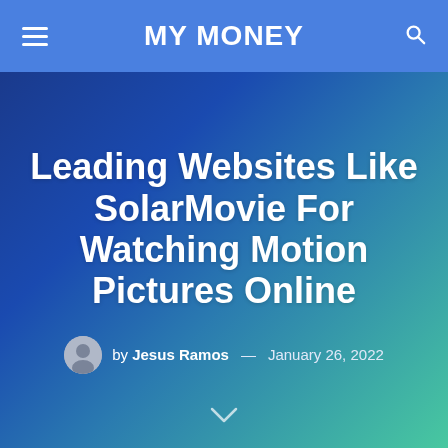MY MONEY
Leading Websites Like SolarMovie For Watching Motion Pictures Online
by Jesus Ramos — January 26, 2022